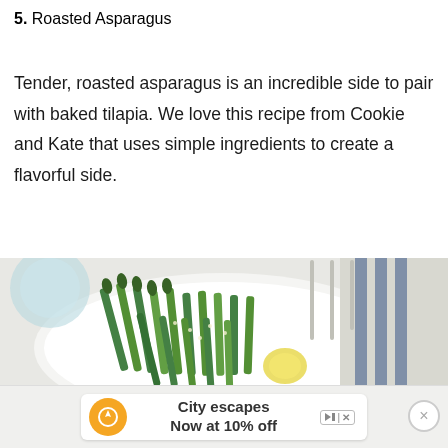5. Roasted Asparagus
Tender, roasted asparagus is an incredible side to pair with baked tilapia. We love this recipe from Cookie and Kate that uses simple ingredients to create a flavorful side.
[Figure (photo): A white plate with roasted asparagus spears garnished with seeds and lemon slices, with silverware and a striped cloth napkin in the background.]
[Figure (infographic): Advertisement bar: orange compass icon with text 'City escapes Now at 10% off', skip and close buttons.]